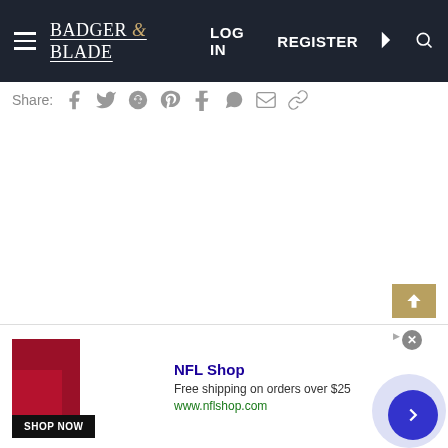Badger & Blade — LOG IN  REGISTER
Share:
[Figure (screenshot): White content area of a forum/article page, mostly blank]
[Figure (infographic): NFL Shop advertisement banner: image of red NFL jersey, text 'NFL Shop - Free shipping on orders over $25 - www.nflshop.com', SHOP NOW button, close X button, sponsored tag, and a blue circular next arrow button]